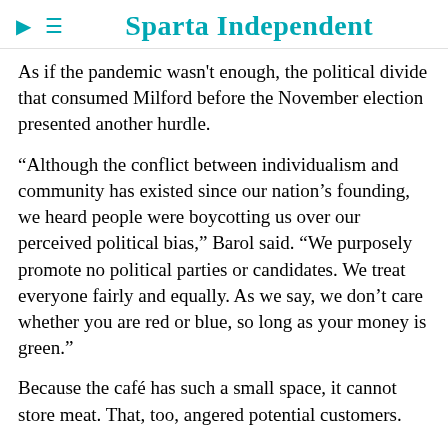Sparta Independent
As if the pandemic wasn't enough, the political divide that consumed Milford before the November election presented another hurdle.
“Although the conflict between individualism and community has existed since our nation’s founding, we heard people were boycotting us over our perceived political bias,” Barol said. “We purposely promote no political parties or candidates. We treat everyone fairly and equally. As we say, we don’t care whether you are red or blue, so long as your money is green.”
Because the café has such a small space, it cannot store meat. That, too, angered potential customers.
“Some people stormed out in rage rather than try our substantial and tasty sandwiches and wraps,” Barol said. “A rising tide lifts all boats. Fortunately, when we